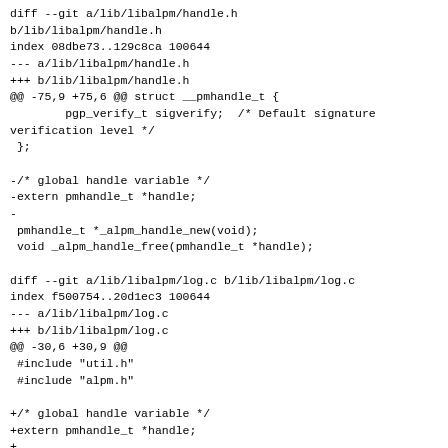diff --git a/lib/libalpm/handle.h b/lib/libalpm/handle.h
index 08dbe73..129c8ca 100644
--- a/lib/libalpm/handle.h
+++ b/lib/libalpm/handle.h
@@ -75,9 +75,6 @@ struct __pmhandle_t {
        pgp_verify_t sigverify;  /* Default signature verification level */
 };

-/* global handle variable */
-extern pmhandle_t *handle;
-
 pmhandle_t *_alpm_handle_new(void);
 void _alpm_handle_free(pmhandle_t *handle);

diff --git a/lib/libalpm/log.c b/lib/libalpm/log.c
index f500754..20d1ec3 100644
--- a/lib/libalpm/log.c
+++ b/lib/libalpm/log.c
@@ -30,6 +30,9 @@
 #include "util.h"
 #include "alpm.h"

+/* global handle variable */
+extern pmhandle_t *handle;
+
 /** \addtogroup alpm_log Logging Functions
  * @brief Functions to log using libalpm
  * @{